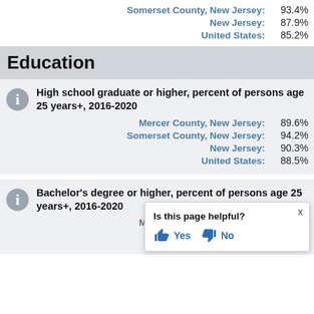Somerset County, New Jersey: 93.4%
New Jersey: 87.9%
United States: 85.2%
Education
High school graduate or higher, percent of persons age 25 years+, 2016-2020
Mercer County, New Jersey: 89.6%
Somerset County, New Jersey: 94.2%
New Jersey: 90.3%
United States: 88.5%
Bachelor's degree or higher, percent of persons age 25 years+, 2016-2020
Mercer County, New Jersey: 43.5%
Somerset County, New Jersey: